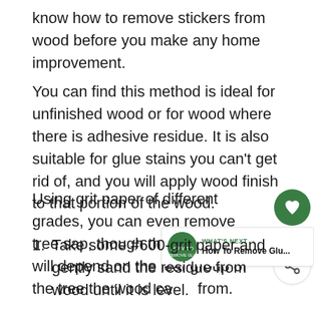know how to remove stickers from wood before you make any home improvement.
You can find this method is ideal for unfinished wood or for wood where there is adhesive residue. It is also suitable for glue stains you can't get rid of, and you will apply wood finish to that portion of the wood.
Using grit paper of different grades, you can even remove tree sap, though the extent of this will depend on the leaf group of the tree the wood came from.
[Figure (infographic): Social sharing widget with heart/like button showing count of 2, and a share button below it]
[Figure (infographic): What's Next widget showing 'How To Remove Glu...' with a green circular thumbnail image]
1. Take some #600-grit paper and gently sand the residue from wood until it is level.